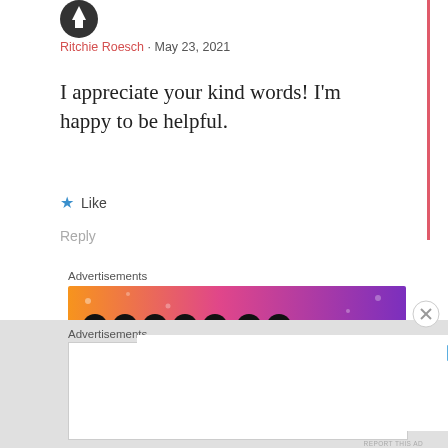[Figure (photo): Circular avatar image, partial view of person]
Ritchie Roesch · May 23, 2021
I appreciate your kind words! I'm happy to be helpful.
★ Like
Reply
Advertisements
[Figure (photo): Fandom on Tumblr advertisement banner with colorful orange to purple gradient and doodle illustrations]
REPORT THIS AD
Advertisements
[Figure (other): Empty white advertisement banner with blue play/arrow icon in top right]
REPORT THIS AD